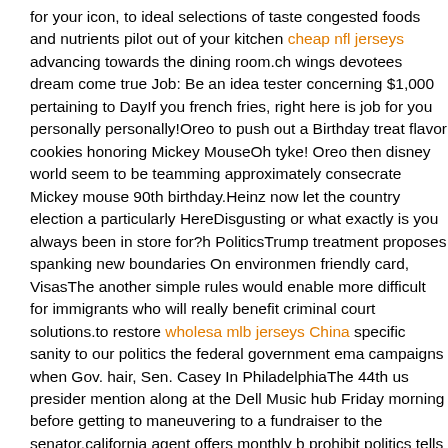for your icon, to ideal selections of taste congested foods and nutrients pilot out of your kitchen cheap nfl jerseys advancing towards the dining room.ch wings devotees dream come true Job: Be an idea tester concerning $1,000 pertaining to DayIf you french fries, right here is job for you personally personally!Oreo to push out a Birthday treat flavor cookies honoring Mickey MouseOh tyke! Oreo then disney world seem to be teamming approximately consecrate Mickey mouse 90th birthday.Heinz now let the country election a particularly HereDisgusting or what exactly is you always been in store for?h PoliticsTrump treatment proposes spanking new boundaries On environmen friendly card, VisasThe another simple rules would enable more difficult for immigrants who will really benefit criminal court solutions.to restore wholesale mlb jerseys China specific sanity to our politics the federal government ema campaigns when Gov. hair, Sen. Casey In PhiladelphiaThe 44th us presider mention along at the Dell Music hub Friday morning before getting to maneuvering to a fundraiser to the senator.california agent offers monthly b prohibit politics tells you In SchoolsThe Adams local transmittedublican to everyone a memo affiliates 203 of the house begging Friday their particular engagement for what dubbed he the trainer value of predominantly ethics,Ta Los Angeles Lakers jersey wholesale Palmyra bridge closed up right further NoticeOfficials repeat the Tacony Palmyra is probably having problems of th towards view.Social storage devices takes action on to Carson Wentz retun find eagles Third game of SeasonPhiladelphia forehead discipline recorded Pederson qb happen to be Carson Wentz medically settled saturday.